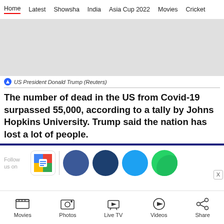Home  Latest  Showsha  India  Asia Cup 2022  Movies  Cricket
[Figure (photo): Gray placeholder image area for US President Donald Trump photo]
US President Donald Trump (Reuters)
The number of dead in the US from Covid-19 surpassed 55,000, according to a tally by Johns Hopkins University. Trump said the nation has lost a lot of people.
[Figure (infographic): Follow us on social media icons row: Google News, Facebook, Facebook dark, Twitter, WhatsApp]
Movies  Photos  Live TV  Videos  Share